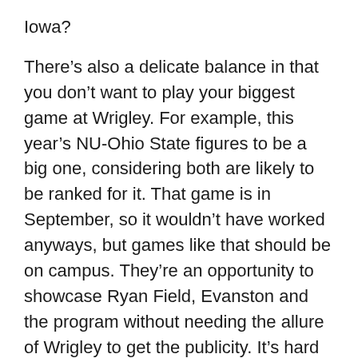Iowa?
There’s also a delicate balance in that you don’t want to play your biggest game at Wrigley. For example, this year’s NU-Ohio State figures to be a big one, considering both are likely to be ranked for it. That game is in September, so it wouldn’t have worked anyways, but games like that should be on campus. They’re an opportunity to showcase Ryan Field, Evanston and the program without needing the allure of Wrigley to get the publicity. It’s hard to circle that kind of game, but in a year when, say, NU and Wisconsin are both picked to be contenders, a game against those two foes should probably be one campus